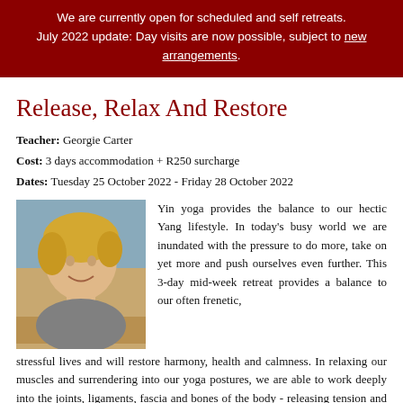We are currently open for scheduled and self retreats. July 2022 update: Day visits are now possible, subject to new arrangements.
Release, Relax And Restore
Teacher: Georgie Carter
Cost: 3 days accommodation + R250 surcharge
Dates: Tuesday 25 October 2022 - Friday 28 October 2022
[Figure (photo): Portrait photo of Georgie Carter, a smiling blonde woman outdoors]
Yin yoga provides the balance to our hectic Yang lifestyle. In today's busy world we are inundated with the pressure to do more, take on yet more and push ourselves even further. This 3-day mid-week retreat provides a balance to our often frenetic, stressful lives and will restore harmony, health and calmness. In relaxing our muscles and surrendering into our yoga postures, we are able to work deeply into the joints, ligaments, fascia and bones of the body - releasing tension and detoxifying normally